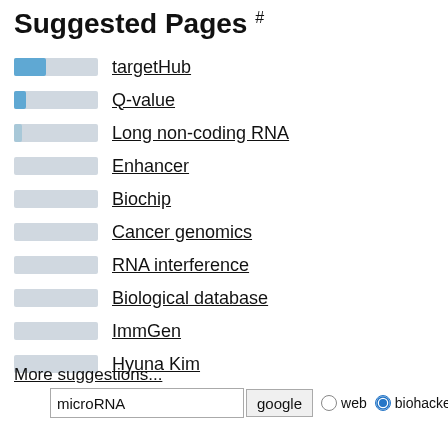Suggested Pages #
targetHub
Q-value
Long non-coding RNA
Enhancer
Biochip
Cancer genomics
RNA interference
Biological database
ImmGen
Hyuna Kim
More suggestions...
microRNA  google  web  biohackers.net